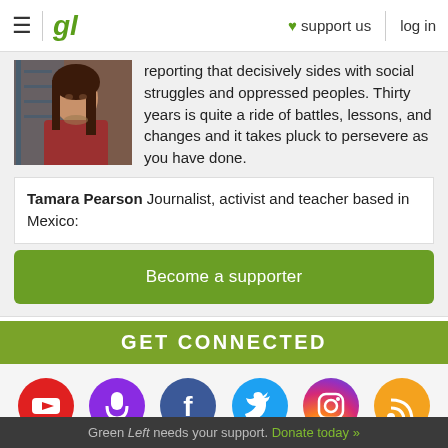gl  ♥ support us  log in
[Figure (photo): Portrait photo of a woman with long dark hair]
reporting that decisively sides with social struggles and oppressed peoples. Thirty years is quite a ride of battles, lessons, and changes and it takes pluck to persevere as you have done.
Tamara Pearson Journalist, activist and teacher based in Mexico:
Become a supporter
GET CONNECTED
[Figure (infographic): Social media icons row: YouTube, Podcast/Microphone, Facebook, Twitter, Instagram, RSS]
Green Left needs your support. Donate today »